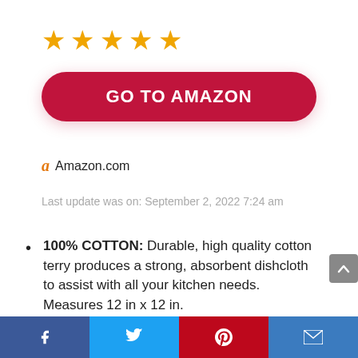[Figure (other): Five gold/orange star rating icons]
GO TO AMAZON
Amazon.com
Last update was on: September 2, 2022 7:24 am
100% COTTON: Durable, high quality cotton terry produces a strong, absorbent dishcloth to assist with all your kitchen needs. Measures 12 in x 12 in.
ABSORBENT: Designed with a popcorn terry construction, these dishcloths are highly
Facebook  Twitter  Pinterest  Email